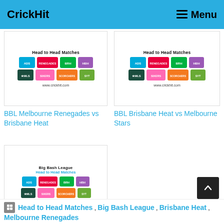CrickHit  Menu
[Figure (screenshot): BBL Head to Head Matches thumbnail image with team logos and www.crickhit.com]
BBL Melbourne Renegades vs Brisbane Heat
[Figure (screenshot): BBL Head to Head Matches thumbnail image with team logos and www.crickhit.com]
BBL Brisbane Heat vs Melbourne Stars
[Figure (screenshot): Big Bash League Head to Head Matches thumbnail image with team logos and www.crickhit.com]
BBL Melbourne Stars vs Brisbane Heat
Head to Head Matches, Big Bash League, Brisbane Heat, Melbourne Renegades